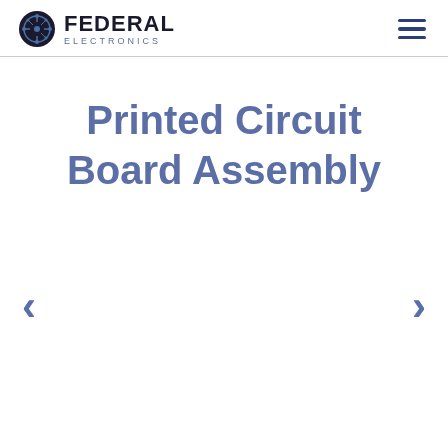FEDERAL ELECTRONICS
Printed Circuit Board Assembly
[Figure (other): Left navigation arrow (chevron) for slideshow carousel]
[Figure (other): Right navigation arrow (chevron) for slideshow carousel]